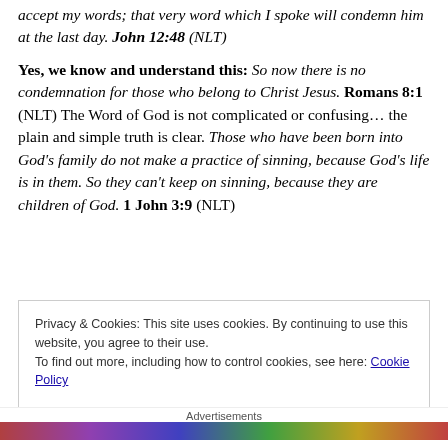accept my words; that very word which I spoke will condemn him at the last day. John 12:48 (NLT)
Yes, we know and understand this: So now there is no condemnation for those who belong to Christ Jesus. Romans 8:1 (NLT) The Word of God is not complicated or confusing… the plain and simple truth is clear. Those who have been born into God’s family do not make a practice of sinning, because God’s life is in them. So they can’t keep on sinning, because they are children of God. 1 John 3:9 (NLT)
Privacy & Cookies: This site uses cookies. By continuing to use this website, you agree to their use.
To find out more, including how to control cookies, see here: Cookie Policy
Close and accept
Advertisements